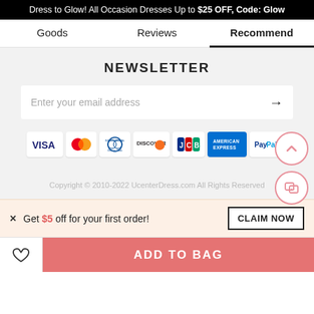Dress to Glow! All Occasion Dresses Up to $25 OFF, Code: Glow
Goods | Reviews | Recommend
NEWSLETTER
Enter your email address
[Figure (infographic): Payment method logos: VISA, Mastercard, Diners Club, Discover, JCB, American Express, PayPal]
Copyright © 2010-2022 UcenterDress.com All Rights Reserved
× Get $5 off for your first order! CLAIM NOW
ADD TO BAG